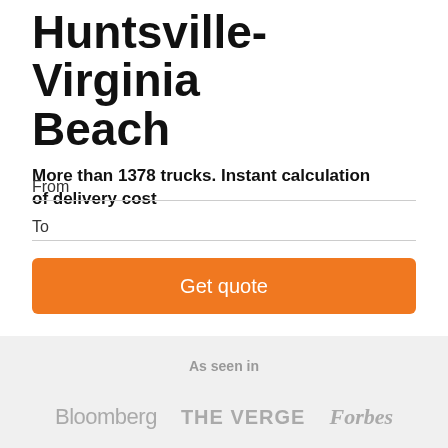Huntsville-Virginia Beach
More than 1378 trucks. Instant calculation of delivery cost
From
To
Get quote
As seen in
Bloomberg THE VERGE Forbes